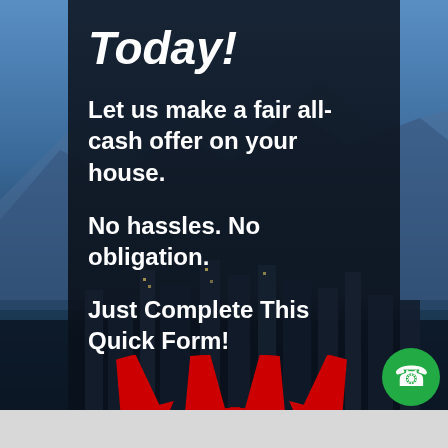Today!
Let us make a fair all-cash offer on your house.
No hassles. No obligation.
Just Complete This Quick Form!
[Figure (illustration): Four red downward-pointing arrows arranged in a row, pointing toward a form below]
[Figure (illustration): City skyline background with mountains, dark overlay panel, and a green phone call button in the bottom right corner]